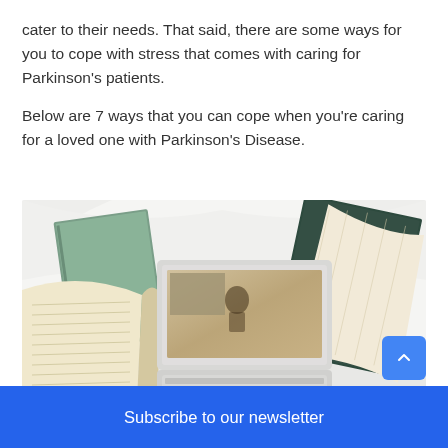cater to their needs. That said, there are some ways for you to cope with stress that comes with caring for Parkinson's patients.
Below are 7 ways that you can cope when you're caring for a loved one with Parkinson's Disease.
[Figure (photo): Overhead view of a person lying on white bedding with an open laptop, surrounded by open books and notebooks]
Subscribe to our newsletter